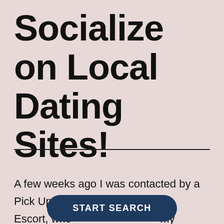Socialize on Local Dating Sites!
A few weeks ago I was contacted by a Pick Up Escort, who asked my opinion on a new website. They'd
[Figure (other): Dark blue rounded button with white bold text reading START SEARCH]